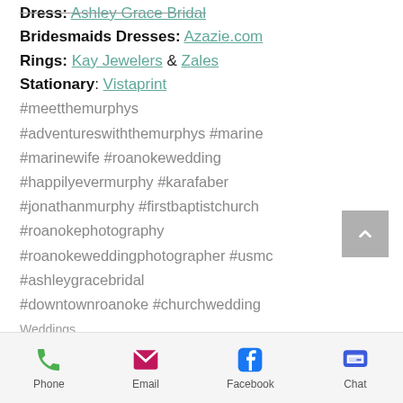Dress: Ashley Grace Bridal
Bridesmaids Dresses: Azazie.com
Rings: Kay Jewelers & Zales
Stationary: Vistaprint
#meetthemurphys #adventureswiththemurphys #marine #marinewife #roanokewedding #happilyevermurphy #karafaber #jonathanmurphy #firstbaptistchurch #roanokephotography #roanokeweddingphotographer #usmc #ashleygracebridal #downtownroanoke #churchwedding
Weddings
[Figure (infographic): Social share icons: Facebook, Twitter, LinkedIn, link/chain icon]
[Figure (infographic): Scroll to top button (grey square with up chevron)]
Phone | Email | Facebook | Chat